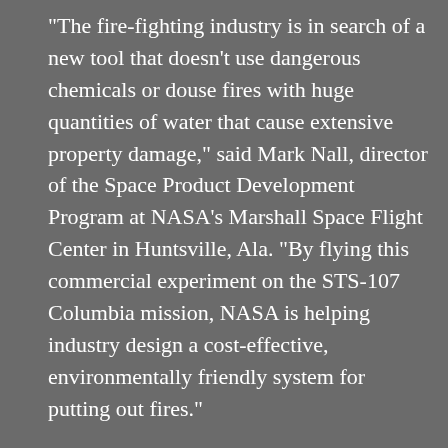"The fire-fighting industry is in search of a new tool that doesn't use dangerous chemicals or douse fires with huge quantities of water that cause extensive property damage," said Mark Nall, director of the Space Product Development Program at NASA's Marshall Space Flight Center in Huntsville, Ala. "By flying this commercial experiment on the STS-107 Columbia mission, NASA is helping industry design a cost-effective, environmentally friendly system for putting out fires."
Until recently, halons, bromine-based compounds, were used to attack fires chemically — especially in places like computer rooms,